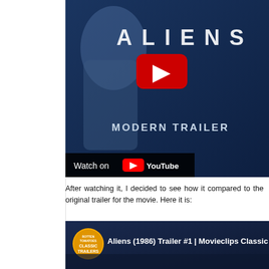[Figure (screenshot): YouTube embedded video thumbnail for 'Aliens Modern Trailer' showing movie poster with figure and ALIENS text in large letters, a YouTube play button in red, 'MODERN TRAILER' text, and a 'Watch on YouTube' bar at the bottom.]
After watching it, I decided to see how it compared to the original trailer for the movie. Here it is:
[Figure (screenshot): YouTube embedded video thumbnail for 'Aliens (1986) Trailer #1 | Movieclips Classic Trailers' showing the Classic Trailers badge logo on the left and the video title on a dark movie scene background.]